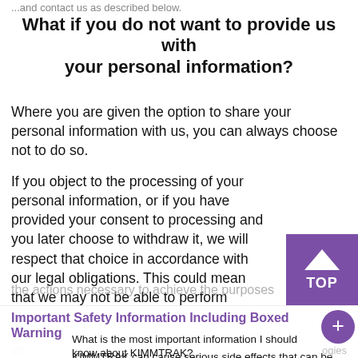...and contact us as described below.
What if you do not want to provide us with your personal information?
Where you are given the option to share your personal information with us, you can always choose not to do so.
If you object to the processing of your personal information, or if you have provided your consent to processing and you later choose to withdraw it, we will respect that choice in accordance with our legal obligations. This could mean that we may not be able to perform the actions necessary to achieve the purposes
as ... pe... un... pr...
Important Safety Information Including Boxed Warning
What is the most important information I should know about KIMMTRAK?
KIMMTRAK can cause serious side effects that can be severe or life threatening and usually happen within the first three